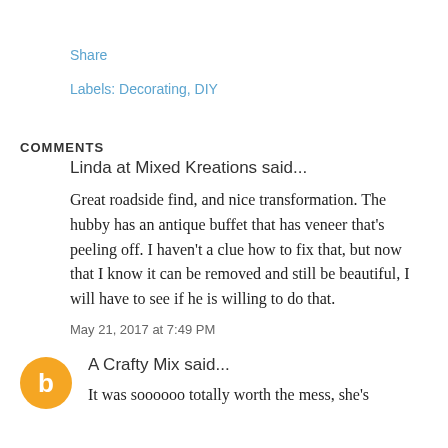Share
Labels: Decorating, DIY
COMMENTS
Linda at Mixed Kreations said...
Great roadside find, and nice transformation. The hubby has an antique buffet that has veneer that's peeling off. I haven't a clue how to fix that, but now that I know it can be removed and still be beautiful, I will have to see if he is willing to do that.
May 21, 2017 at 7:49 PM
A Crafty Mix said...
It was soooooo totally worth the mess, she's